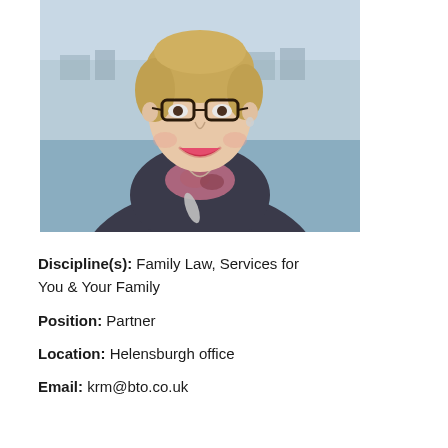[Figure (photo): Professional headshot of a woman with short blonde hair and glasses, wearing a dark grey jacket with a brooch and a floral scarf, smiling, with a waterfront/harbour background.]
Discipline(s): Family Law, Services for You & Your Family
Position: Partner
Location: Helensburgh office
Email: krm@bto.co.uk